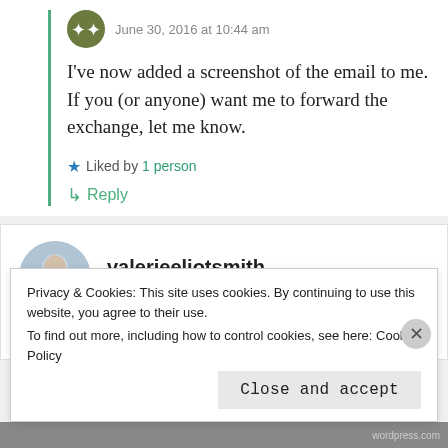June 30, 2016 at 10:44 am
I've now added a screenshot of the email to me. If you (or anyone) want me to forward the exchange, let me know.
★ Liked by 1 person
↳ Reply
valerieeliotsmith
June 29, 2016 at 8:28 pm
Privacy & Cookies: This site uses cookies. By continuing to use this website, you agree to their use.
To find out more, including how to control cookies, see here: Cookie Policy
Close and accept